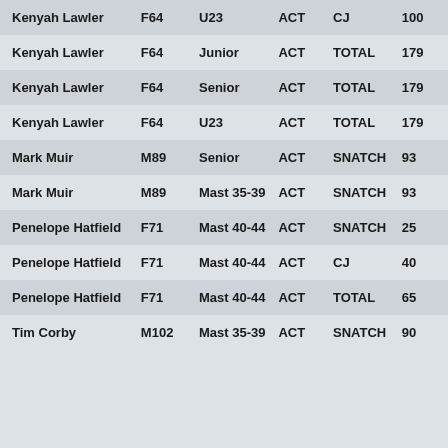| Kenyah Lawler | F64 | U23 | ACT | CJ | 100 |
| Kenyah Lawler | F64 | Junior | ACT | TOTAL | 179 |
| Kenyah Lawler | F64 | Senior | ACT | TOTAL | 179 |
| Kenyah Lawler | F64 | U23 | ACT | TOTAL | 179 |
| Mark Muir | M89 | Senior | ACT | SNATCH | 93 |
| Mark Muir | M89 | Mast 35-39 | ACT | SNATCH | 93 |
| Penelope Hatfield | F71 | Mast 40-44 | ACT | SNATCH | 25 |
| Penelope Hatfield | F71 | Mast 40-44 | ACT | CJ | 40 |
| Penelope Hatfield | F71 | Mast 40-44 | ACT | TOTAL | 65 |
| Tim Corby | M102 | Mast 35-39 | ACT | SNATCH | 90 |